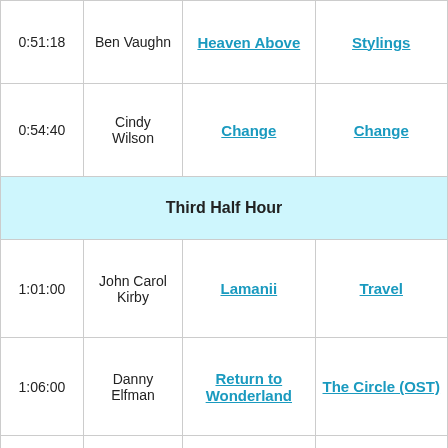| Time | Artist | Song | Album |
| --- | --- | --- | --- |
| 0:51:18 | Ben Vaughn | Heaven Above | Stylings |
| 0:54:40 | Cindy Wilson | Change | Change |
|  |  | Third Half Hour |  |
| 1:01:00 | John Carol Kirby | Lamanii | Travel |
| 1:06:00 | Danny Elfman | Return to Wonderland | The Circle (OST) |
| 1:07:25 | Albrect La Brooy | Sealer's Cove | Tidal River |
| 1:17:12 | Tosca | Amber November (Brendon Moeller Dub) | Boom Boom Boom: The Going Going Going Remixes |